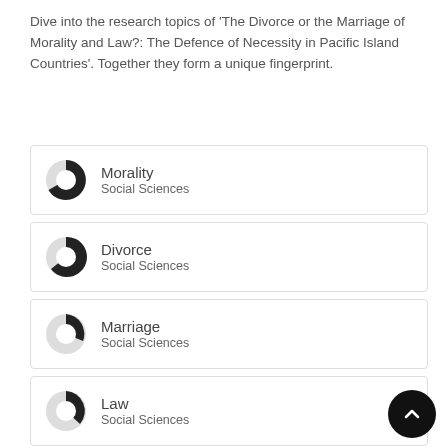Dive into the research topics of 'The Divorce or the Marriage of Morality and Law?: The Defence of Necessity in Pacific Island Countries'. Together they form a unique fingerprint.
Morality – Social Sciences
Divorce – Social Sciences
Marriage – Social Sciences
Law – Social Sciences
Criminal law – Social Sciences